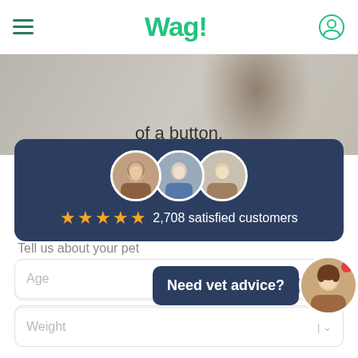Wag!
of a button.
[Figure (screenshot): Review card with three circular avatar photos, five gold stars, and text '2,708 satisfied customers' on a dark navy background]
Tell us about your pet
Pet name
Breed (type to search)
Age
Weight
Need vet advice?